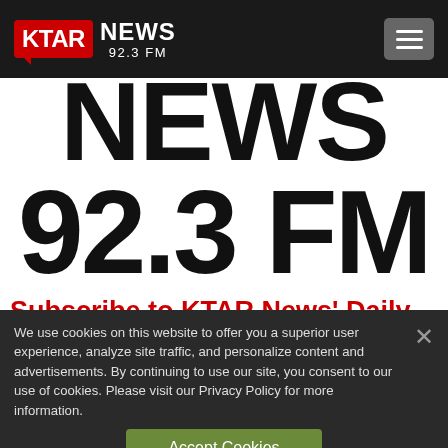KTAR NEWS 92.3 FM
[Figure (logo): KTAR News 92.3 FM logo with red speech-bubble box and white text]
NEWS 92.3 FM
Subscribe to KTAR News' Daily Summary newsletter
We use cookies on this website to offer you a superior user experience, analyze site traffic, and personalize content and advertisements. By continuing to use our site, you consent to our use of cookies. Please visit our Privacy Policy for more information.
Accept Cookies